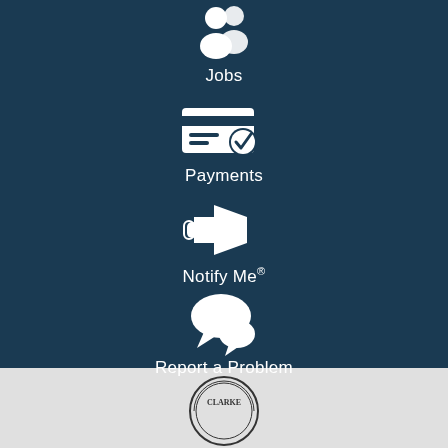[Figure (illustration): White people/jobs icon on dark blue background]
Jobs
[Figure (illustration): White payment/credit card with checkmark icon on dark blue background]
Payments
[Figure (illustration): White megaphone/announcement icon on dark blue background]
Notify Me®
[Figure (illustration): White speech bubble/chat icon on dark blue background]
Report a Problem
[Figure (logo): Clarke county/city circular seal logo at bottom on light gray background]